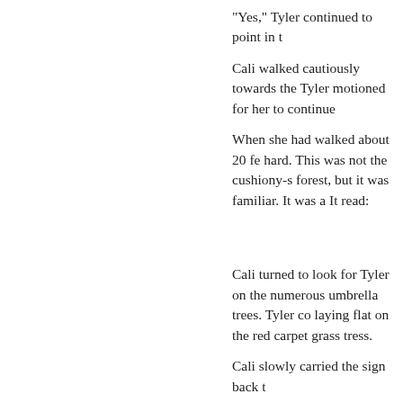"Yes," Tyler continued to point in t
Cali walked cautiously towards the Tyler motioned for her to continue
When she had walked about 20 fe hard. This was not the cushiony-s forest, but it was familiar. It was a It read:
Cali turned to look for Tyler on the numerous umbrella trees. Tyler co laying flat on the red carpet grass tress.
Cali slowly carried the sign back t
"You're right," she said. "Here's th
Tyler nodded slightly and knowing knew to be true.
"Let's go, shall we?" he said open
As Tyler walked away, Cali looked unchanged. She dropped the sign